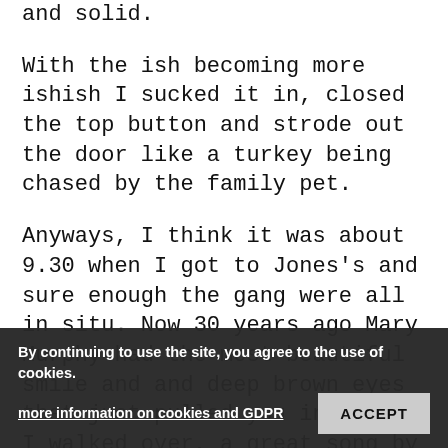and solid.
With the ish becoming more ishish I sucked it in, closed the top button and strode out the door like a turkey being chased by the family pet.
Anyways, I think it was about 9.30 when I got to Jones's and sure enough the gang were all in situ. Now 30 years ago Mary Murphy had the most beautiful smile and and deep brown eyes that just pulled you in and as I walked over, a great song by smokie came to mind
“Well she looked at me with those dark brown eyes” and as I took her hand “she whispered asta la vista”. I don’t know what she meant but I kissed her. As I gave her the standard welcoming peck on the couldn’t help but feel the dead man’s grip she had of my right hand. Bitch ! I so wanted
By continuing to use the site, you agree to the use of cookies.
more information on cookies and GDPR
ACCEPT